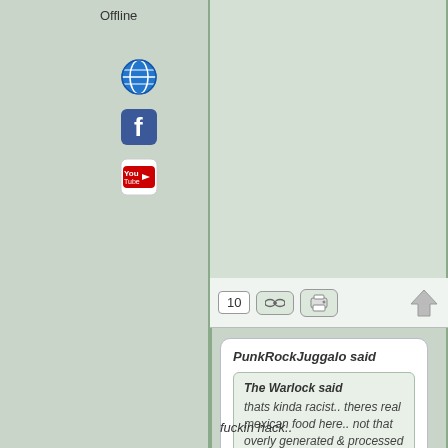Offline
[Figure (illustration): Globe icon (world/web)]
[Figure (illustration): Facebook icon]
[Figure (illustration): YouTube icon]
[Figure (screenshot): Toolbar with number 10, chain link button, printer button, and up arrow]
PunkRockJuggalo said
The Warlock said
thats kinda racist.. theres real mexican food here.. not that overly generated & processed shit...
Yeah it was, but it was just to easy to pass up.
fuckin hack..